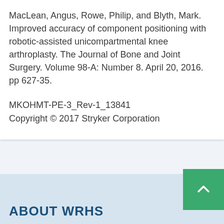MacLean, Angus, Rowe, Philip, and Blyth, Mark. Improved accuracy of component positioning with robotic-assisted unicompartmental knee arthroplasty. The Journal of Bone and Joint Surgery. Volume 98-A: Number 8. April 20, 2016. pp 627-35.
MKOHMT-PE-3_Rev-1_13841
Copyright © 2017 Stryker Corporation
ABOUT WRHS